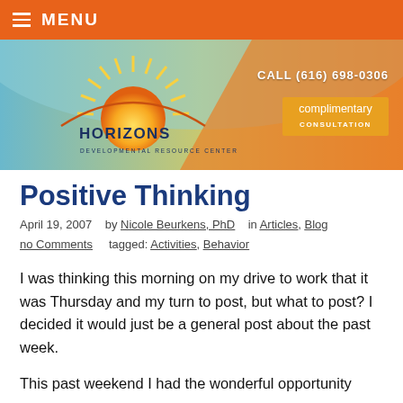MENU
[Figure (illustration): Horizons Developmental Resource Center banner with sun logo, gradient background (blue, orange, gold), phone number CALL (616) 698-0306, and complimentary consultation button]
Positive Thinking
April 19, 2007   by Nicole Beurkens, PhD   in Articles, Blog   no Comments   tagged: Activities, Behavior
I was thinking this morning on my drive to work that it was Thursday and my turn to post, but what to post? I decided it would just be a general post about the past week.
This past weekend I had the wonderful opportunity